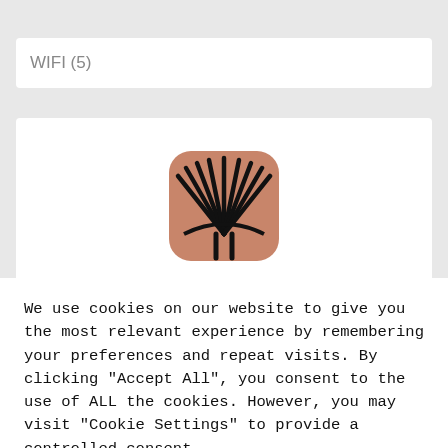WIFI (5)
[Figure (logo): App icon with copper/salmon rounded square background featuring a black stylized sunburst or fan-shaped logo with two vertical lines at the bottom]
We use cookies on our website to give you the most relevant experience by remembering your preferences and repeat visits. By clicking "Accept All", you consent to the use of ALL the cookies. However, you may visit "Cookie Settings" to provide a controlled consent.
Cookie Settings
Accept All